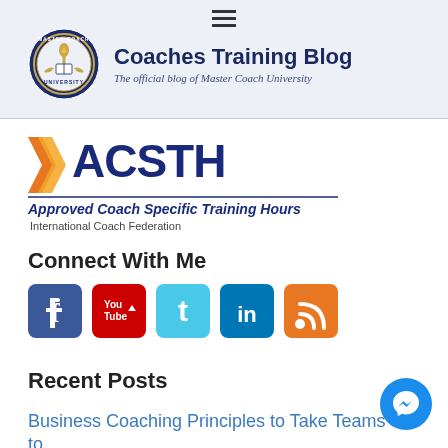Coaches Training Blog — The official blog of Master Coach University
[Figure (logo): Master Coach University seal logo with torch and book]
[Figure (logo): ACOTH/ACSTH accreditation logo — Approved Coach Specific Training Hours, International Coach Federation]
Connect With Me
[Figure (infographic): Social media icons: Facebook, YouTube, Twitter, LinkedIn, RSS Feed]
Recent Posts
Business Coaching Principles to Take Teams to